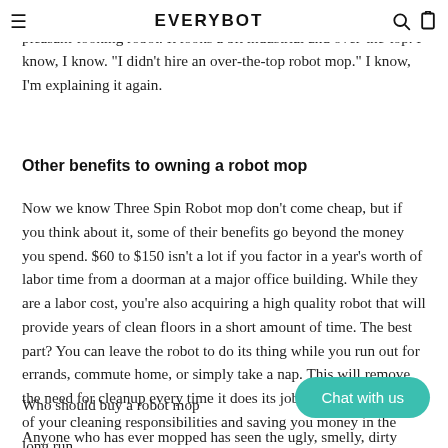EVERYBOT
You may also notice that the Three Spin Robot mop isn't exactly a pleasant-looking robot. It looks a bit industrial and over-the-top. I know, I know. "I didn't hire an over-the-top robot mop." I know, I'm explaining it again.
Other benefits to owning a robot mop
Now we know Three Spin Robot mop don't come cheap, but if you think about it, some of their benefits go beyond the money you spend. $60 to $150 isn't a lot if you factor in a year's worth of labor time from a doorman at a major office building. While they are a labor cost, you're also acquiring a high quality robot that will provide years of clean floors in a short amount of time. The best part? You can leave the robot to do its thing while you run out for errands, commute home, or simply take a nap. This will remove the need for cleanup every time it does its job, keeping you on top of your cleaning responsibilities and saving you money in the long run.
Who should buy a robot mop
Anyone who has ever mopped has seen the ugly, smelly, dirty
[Figure (other): Teal 'Chat with us' button in bottom right corner]